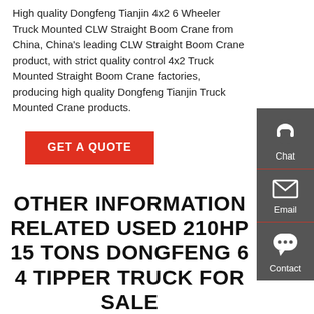High quality Dongfeng Tianjin 4x2 6 Wheeler Truck Mounted CLW Straight Boom Crane from China, China's leading CLW Straight Boom Crane product, with strict quality control 4x2 Truck Mounted Straight Boom Crane factories, producing high quality Dongfeng Tianjin Truck Mounted Crane products.
GET A QUOTE
OTHER INFORMATION RELATED USED 210HP 15 TONS DONGFENG 6 4 TIPPER TRUCK FOR SALE
Sinotruk HOWO 420HP 8X4 45-50tones Dump Truck
[Figure (other): Right sidebar with Chat, Email, and Contact icons on dark grey background]